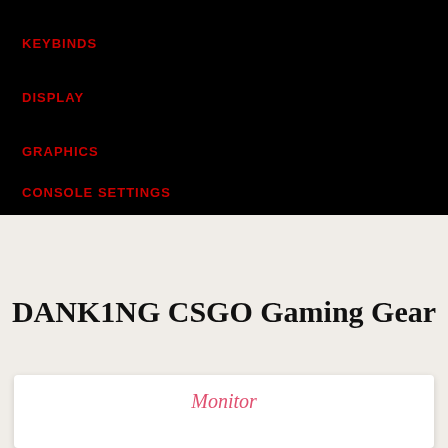KEYBINDS
DISPLAY
GRAPHICS
CONSOLE SETTINGS
DANK1NG CSGO Gaming Gear
Monitor